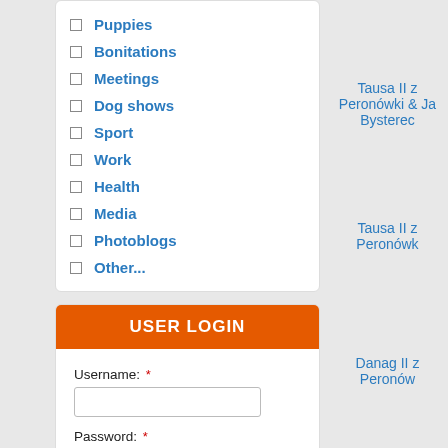Puppies
Bonitations
Meetings
Dog shows
Sport
Work
Health
Media
Photoblogs
Other...
USER LOGIN
Username: *
Password: *
Create new account
Request new password
Tausa II z Peronówki & Ja
Bysterec
Tausa II z Peronówk
Danag II z Peronów
Q'Jutryboga II z Peron
Danag II z Peronów